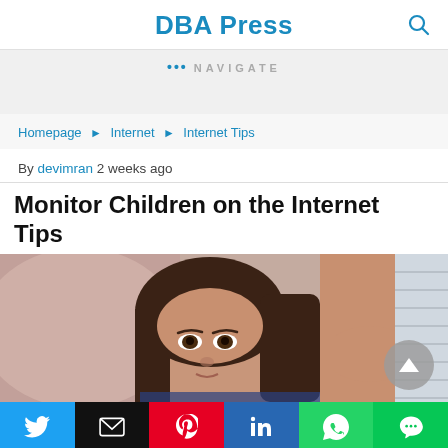DBA Press
••• NAVIGATE
Homepage ▶ Internet ▶ Internet Tips
By devimran 2 weeks ago
Monitor Children on the Internet Tips
[Figure (photo): A young girl looking at a screen, chin resting on her hand, with window blinds visible in the background.]